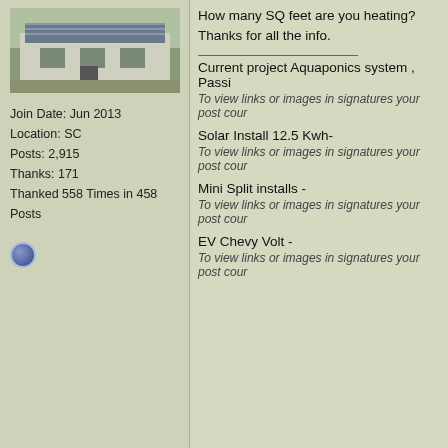How many SQ feet are you heating?
Thanks for all the info.
Current project Aquaponics system , Passi...
To view links or images in signatures your post coun...
Solar Install 12.5 Kwh-
To view links or images in signatures your post coun...
Mini Split installs -
To view links or images in signatures your post coun...
EV Chevy Volt -
To view links or images in signatures your post coun...
Join Date: Jun 2013
Location: SC
Posts: 2,915
Thanks: 171
Thanked 558 Times in 458 Posts
11-24-18, 06:57 PM
Sccoupe
Helper EcoRenovator
Join Date: May 2017
Location: PA
Posts: 43
Thanks: 4
Thanked 16 Times in 8 Posts
I'm trying to remember correctly now, I don't... temps were low 20's, maybe even down to... started to freeze the liquid. Nice fail safe fe... happen again. In any case, the second sta... support it. I hope to stay in a more efficient... 2700 sq ft.